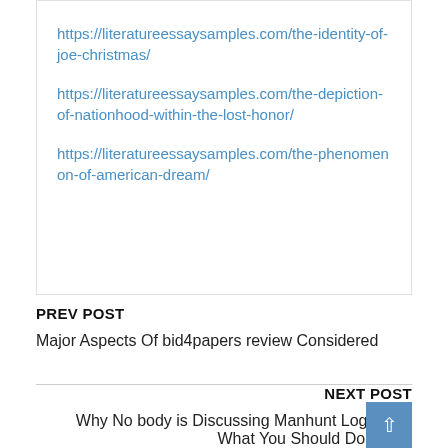https://literatureessaysamples.com/the-identity-of-joe-christmas/
https://literatureessaysamples.com/the-depiction-of-nationhood-within-the-lost-honor/
https://literatureessaysamples.com/the-phenomenon-of-american-dream/
PREV POST
Major Aspects Of bid4papers review Considered
NEXT POST
Why No body is Discussing Manhunt Login And What You Should Do Today